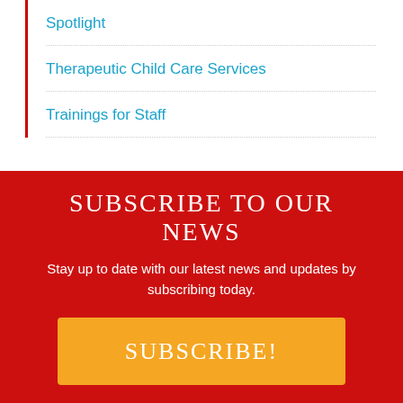Spotlight
Therapeutic Child Care Services
Trainings for Staff
SUBSCRIBE TO OUR NEWS
Stay up to date with our latest news and updates by subscribing today.
SUBSCRIBE!